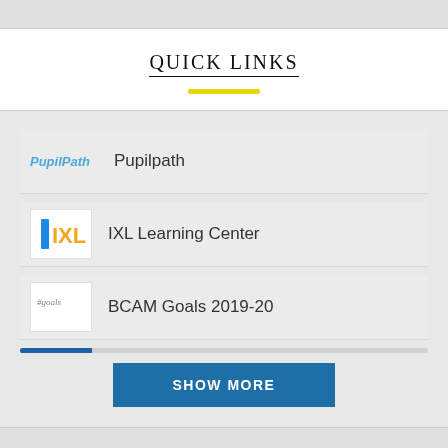QUICK LINKS
Pupilpath
IXL Learning Center
BCAM Goals 2019-20
SHOW MORE